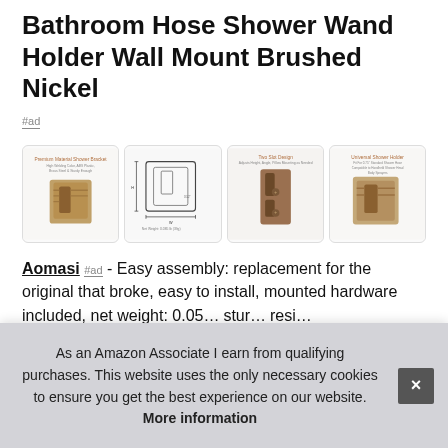Bathroom Hose Shower Wand Holder Wall Mount Brushed Nickel
#ad
[Figure (photo): Four product images of a brushed nickel shower wand holder wall mount bracket, showing different angles and a technical diagram with dimensions]
Aomasi #ad - Easy assembly: replacement for the original that broke, easy to install, mounted hardware included, net weight: 0.05 … stur … resi …
As an Amazon Associate I earn from qualifying purchases. This website uses the only necessary cookies to ensure you get the best experience on our website. More information